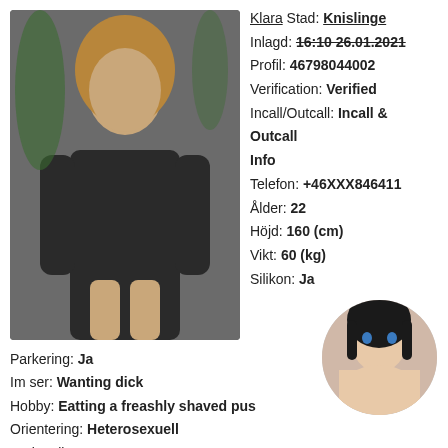[Figure (photo): Young woman in black dress, full body photo]
Klara Stad: Knislinge
Inlagd: 16:10 26.01.2021
Profil: 46798044002
Verification: Verified
Incall/Outcall: Incall & Outcall
Info
Telefon: +46XXX846411
Ålder: 22
Höjd: 160 (cm)
Vikt: 60 (kg)
Silikon: Ja
Parkering: Ja
Im ser: Wanting dick
Hobby: Eatting a freashly shaved pus
Orientering: Heterosexuell
Nationalitet:
Söker lägenhot:
[Figure (photo): Woman circular thumbnail photo]